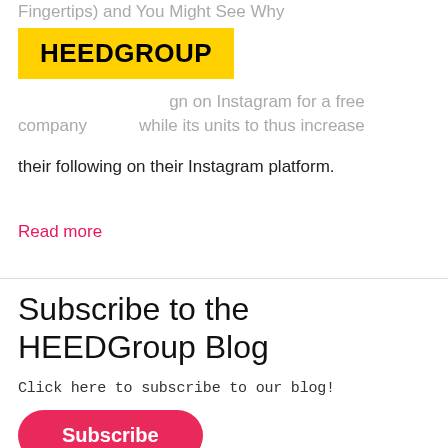Fingertips) and You Might See Why
[Figure (logo): HEEDGROUP logo — black bold text on yellow background]
gn on Instagram for a free company while its units to thus increase their following on their Instagram platform.
Read more
Subscribe to the HEEDGroup Blog
Click here to subscribe to our blog!
Subscribe